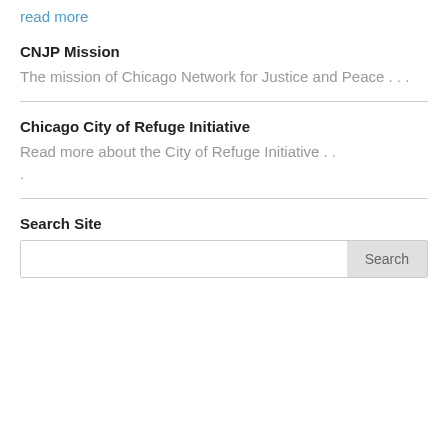read more
CNJP Mission
The mission of Chicago Network for Justice and Peace . . .
Chicago City of Refuge Initiative
Read more about the City of Refuge Initiative . . .
Search Site
Search